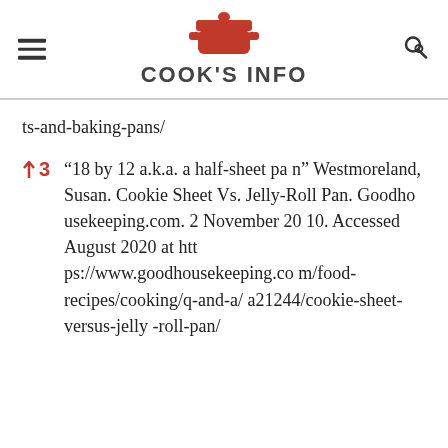COOK'S INFO
ts-and-baking-pans/
↑3  “18 by 12 a.k.a. a half-sheet pan” Westmoreland, Susan. Cookie Sheet Vs. Jelly-Roll Pan. Goodhousekeeping.com. 2 November 2010. Accessed August 2020 at https://www.goodhousekeeping.com/food-recipes/cooking/q-and-a/a21244/cookie-sheet-versus-jelly-roll-pan/